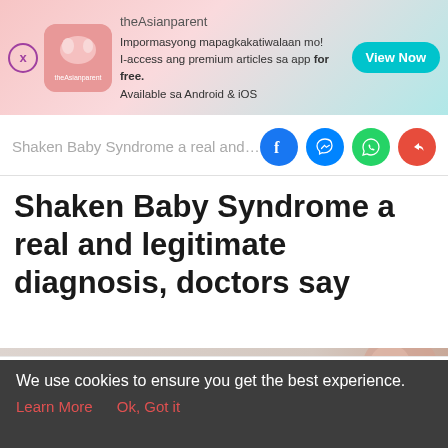[Figure (screenshot): theAsianparent app advertisement banner with pink gradient background, app logo, promotional text in Filipino, and teal 'View Now' button]
Shaken Baby Syndrome a real and le
[Figure (other): Social share icons: Facebook (blue), Messenger (blue), WhatsApp (green), Share (red)]
Shaken Baby Syndrome a real and legitimate diagnosis, doctors say
[Figure (photo): Partial photo strip of baby face with light pink/beige tones]
[Figure (screenshot): Bottom navigation bar with Tools, Articles, Home (baby feet icon, pink circle), Feed, and Poll icons]
We use cookies to ensure you get the best experience.
Learn More   Ok, Got it